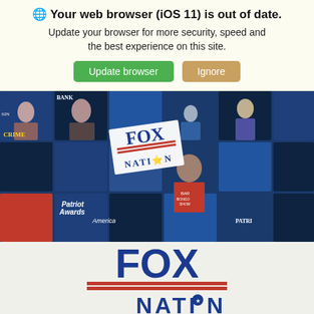🌐 Your web browser (iOS 11) is out of date. Update your browser for more security, speed and the best experience on this site.
Update browser | Ignore
[Figure (screenshot): Fox Nation hero banner showing multiple show thumbnails with Fox Nation logo overlay]
[Figure (logo): Fox Nation large logo in blue and red with star in NATION text]
[Figure (screenshot): Advertisement for Women's Fashion | Shop Online | VENUS with thumbnail images and arrow button]